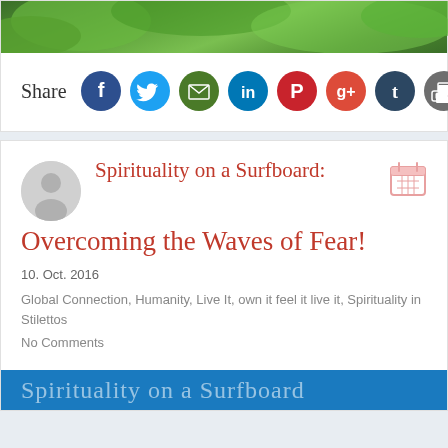[Figure (photo): Green leaves/plant hero image at top of card]
Share
[Figure (infographic): Social sharing icons: Facebook (dark blue), Twitter (light blue), Email (green), LinkedIn (blue), Pinterest (red), Google+ (red-orange), Tumblr (dark navy), Print (gray)]
Spirituality on a Surfboard: Overcoming the Waves of Fear!
10. Oct. 2016
Global Connection, Humanity, Live It, own it feel it live it, Spirituality in Stilettos
No Comments